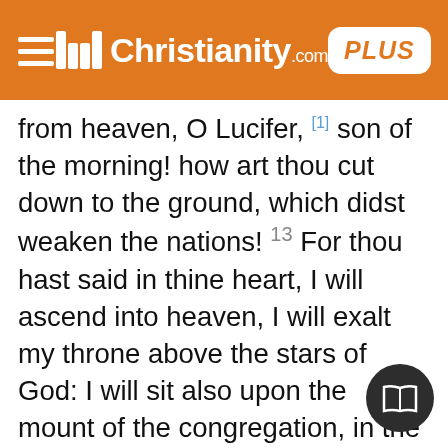Christianity.com PLUS
from heaven, O Lucifer, [1] son of the morning! how art thou cut down to the ground, which didst weaken the nations! 13 For thou hast said in thine heart, I will ascend into heaven, I will exalt my throne above the stars of God: I will sit also upon the mount of the congregation, in the sides of the north: 14 I will ascend above the heights of the clouds; I will be like the most High. 15 Yet thou shalt be brought down to hell, to the sides of the pit. 16 They that see thee shall narrowly look upon thee, and consider thee, saying, Is this the man that made the earth to tremble, that did shake kingdoms 17 That made the world as a wilderness, and